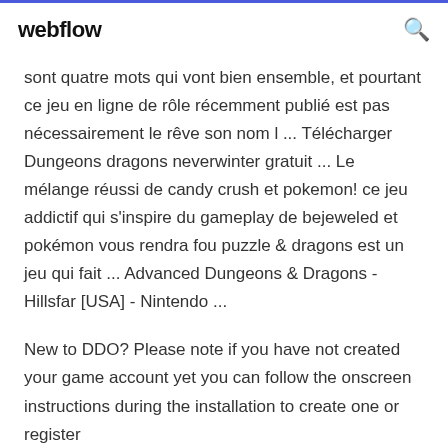webflow
sont quatre mots qui vont bien ensemble, et pourtant ce jeu en ligne de rôle récemment publié est pas nécessairement le rêve son nom l ... Télécharger Dungeons dragons neverwinter gratuit ... Le mélange réussi de candy crush et pokemon! ce jeu addictif qui s'inspire du gameplay de bejeweled et pokémon vous rendra fou puzzle & dragons est un jeu qui fait ... Advanced Dungeons & Dragons - Hillsfar [USA] - Nintendo ...
New to DDO? Please note if you have not created your game account yet you can follow the onscreen instructions during the installation to create one or register